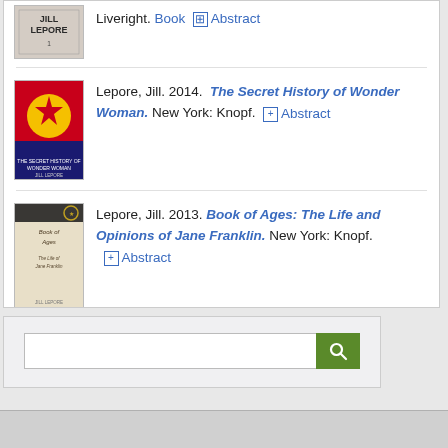Liveright. Book ⊞ Abstract
Lepore, Jill. 2014. The Secret History of Wonder Woman. New York: Knopf. ⊞ Abstract
Lepore, Jill. 2013. Book of Ages: The Life and Opinions of Jane Franklin. New York: Knopf. ⊞ Abstract
[Figure (other): Search bar with green search button containing magnifying glass icon]